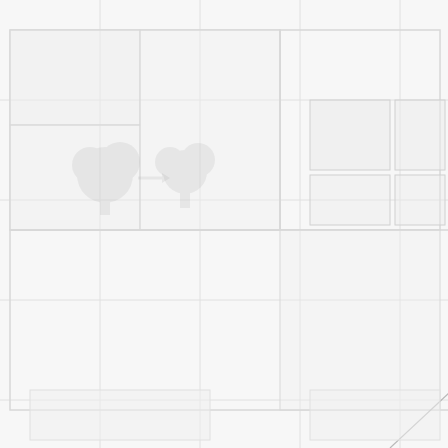[Figure (schematic): A faint floor plan or map background with very light gray room outlines, icons (tree/plant icons, person icons), and text labels including 'ROOM 257' and '5.1%'. A diagonal line with an X marker at the top right crosses the image from upper right to lower center.]